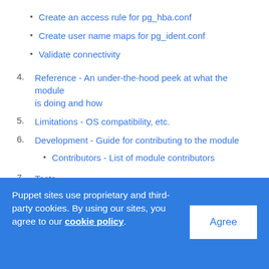Create an access rule for pg_hba.conf
Create user name maps for pg_ident.conf
Validate connectivity
4. Reference - An under-the-hood peek at what the module is doing and how
5. Limitations - OS compatibility, etc.
6. Development - Guide for contributing to the module
Contributors - List of module contributors
7. Tests
Puppet sites use proprietary and third-party cookies. By using our sites, you agree to our cookie policy.